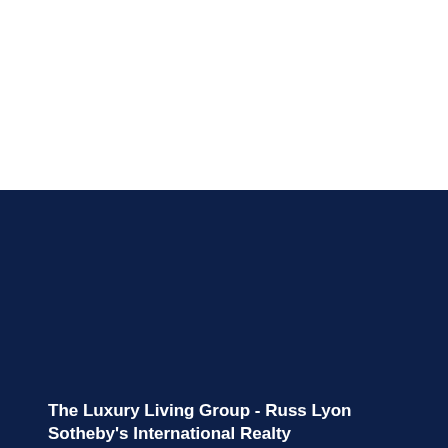[Figure (photo): White top section of the page, likely a photo area that is blank or cut off]
The Luxury Living Group - Russ Lyon Sotheby's International Realty
6900 E Camelback Rd
Suite 110,
Scottsdale, Arizona 85251
United States (US)
CALL
EMAIL
TEXT